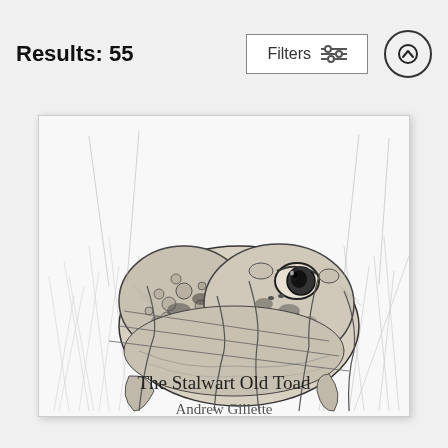Results: 55
Filters
[Figure (illustration): Pencil sketch drawing of a toad sitting in tall grass, detailed black and white illustration]
The Stalwart Old Toad
Andrew Gillette